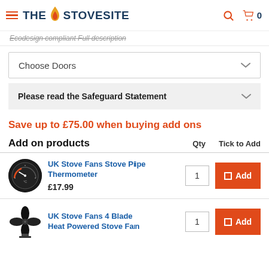THE STOVESITE  0
Ecodesign compliant Full description
Choose Doors
Please read the Safeguard Statement
Save up to £75.00 when buying add ons
| Add on products | Qty | Tick to Add |
| --- | --- | --- |
| UK Stove Fans Stove Pipe Thermometer
£17.99 | 1 | Add |
| UK Stove Fans 4 Blade Heat Powered Stove Fan | 1 | Add |